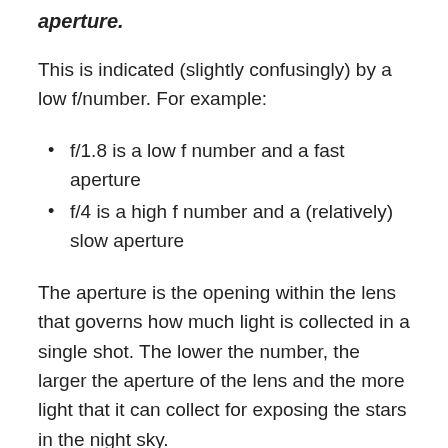aperture.
This is indicated (slightly confusingly) by a low f/number. For example:
f/1.8 is a low f number and a fast aperture
f/4 is a high f number and a (relatively) slow aperture
The aperture is the opening within the lens that governs how much light is collected in a single shot. The lower the number, the larger the aperture of the lens and the more light that it can collect for exposing the stars in the night sky.